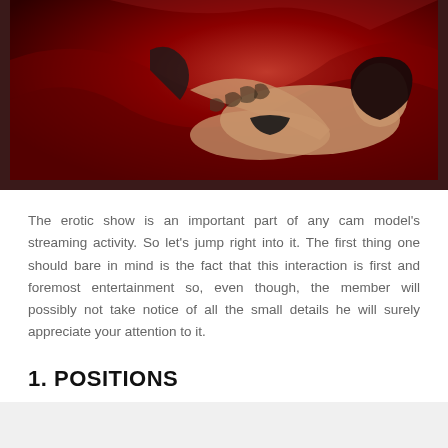[Figure (photo): A tattooed woman in black lingerie posing on red satin sheets, photographed in a dim, dramatic studio setting.]
The erotic show is an important part of any cam model's streaming activity. So let's jump right into it. The first thing one should bare in mind is the fact that this interaction is first and foremost entertainment so, even though, the member will possibly not take notice of all the small details he will surely appreciate your attention to it.
1. POSITIONS